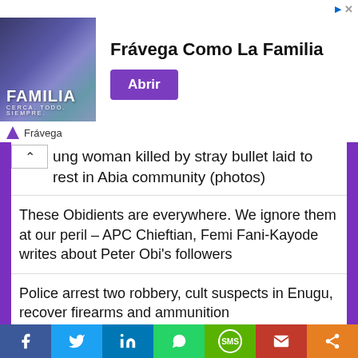[Figure (screenshot): Advertisement banner for Frávega Como La Familia with photo of people and purple button saying Abrir]
young woman killed by stray bullet laid to rest in Abia community (photos)
These Obidients are everywhere. We ignore them at our peril – APC Chieftian, Femi Fani-Kayode writes about Peter Obi's followers
Police arrest two robbery, cult suspects in Enugu, recover firearms and ammunition
Media personality Agba Jalingo released on bail
Kaduna train attack: Help free my sister – Azurfa